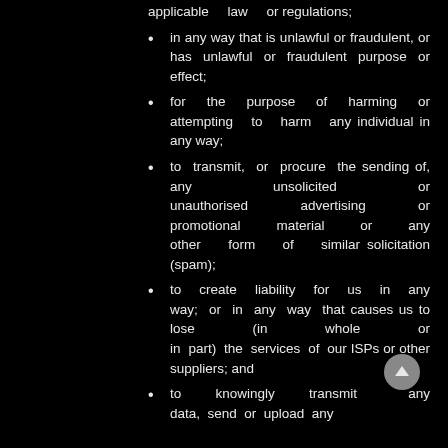applicable law or regulations;
in any way that is unlawful or fraudulent, or has unlawful or fraudulent purpose or effect;
for the purpose of harming or attempting to harm any individual in any way;
to transmit, or procure the sending of, any unsolicited or unauthorised advertising or promotional material or any other form of similar solicitation (spam);
to create liability for us in any way; or in any way that causes us to lose (in whole or in part) the services of our ISPs or other suppliers; and
to knowingly transmit any data, send or upload any